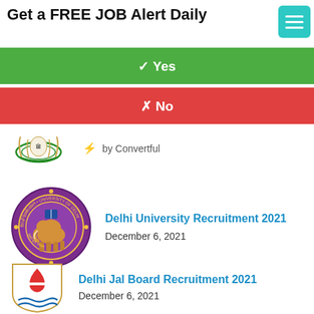Get a FREE JOB Alert Daily
✓ Yes
✗ No
[Figure (logo): Government emblem/seal logo (small, at top left of Convertful branding row)]
⚡ by Convertful
[Figure (logo): Delhi University circular seal logo in purple and gold]
Delhi University Recruitment 2021
December 6, 2021
[Figure (logo): Delhi Jal Board shield-shaped logo with water motif in red and blue]
Delhi Jal Board Recruitment 2021
December 6, 2021